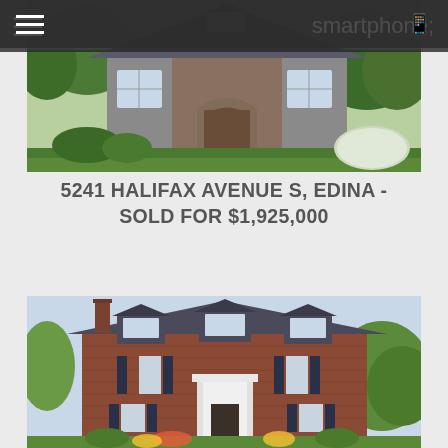[Figure (photo): Exterior photo of a two-story craftsman/stone-accented home at 5241 Halifax Avenue S, Edina, with lush green landscaping and paved walkway]
5241 HALIFAX AVENUE S, EDINA - SOLD FOR $1,925,000
[Figure (photo): Exterior photo of a two-story brick colonial home with dormers, dark shutters, white columned entry portico, and spring flower landscaping]